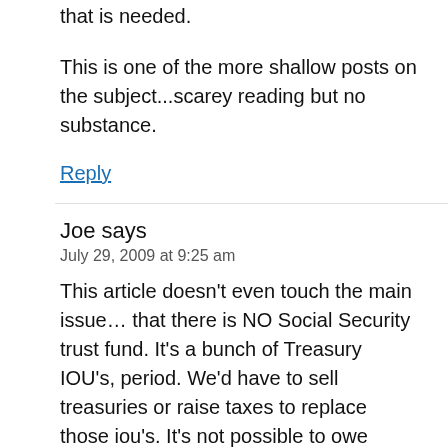that is needed.
This is one of the more shallow posts on the subject...scarey reading but no substance.
Reply
Joe says
July 29, 2009 at 9:25 am
This article doesn't even touch the main issue… that there is NO Social Security trust fund. It's a bunch of Treasury IOU's, period. We'd have to sell treasuries or raise taxes to replace those iou's. It's not possible to owe oneself money, otherwise we would all be fabulously wealthy. If you want more information, you should take the Crash Course which talks about this and many other issues we are facing, medicare,